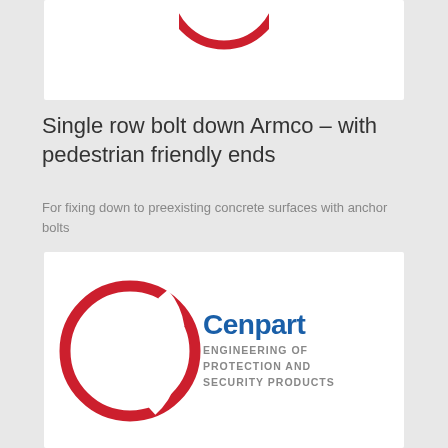[Figure (logo): Partial red circular Cenpart logo at top of page]
Single row bolt down Armco – with pedestrian friendly ends
For fixing down to preexisting concrete surfaces with anchor bolts
[Figure (logo): Cenpart logo: red circle outline with 'Cenpart' in blue and 'ENGINEERING OF PROTECTION AND SECURITY PRODUCTS' in grey]